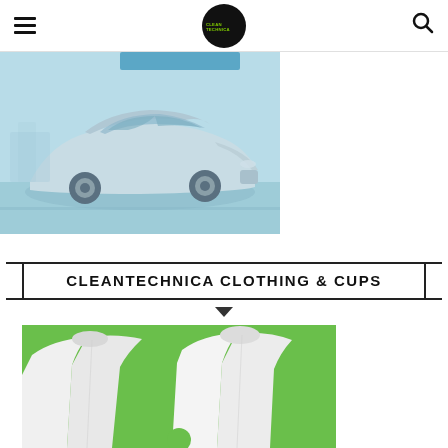CleanTechnica — navigation bar with hamburger menu, logo, and search icon
[Figure (photo): Blue-tinted photograph of a Tesla Model 3 electric car driving forward, shot from a low front angle]
CLEANTECHNICA CLOTHING & CUPS
[Figure (photo): White t-shirts laid flat on a green background, showing CleanTechnica clothing merchandise]